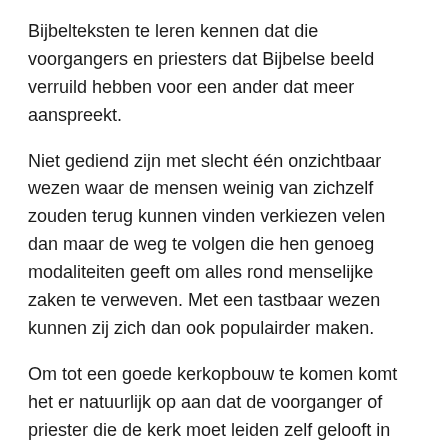Bijbelteksten te leren kennen dat die voorgangers en priesters dat Bijbelse beeld verruild hebben voor een ander dat meer aanspreekt.
Niet gediend zijn met slecht één onzichtbaar wezen waar de mensen weinig van zichzelf zouden terug kunnen vinden verkiezen velen dan maar de weg te volgen die hen genoeg modaliteiten geeft om alles rond menselijke zaken te verweven. Met een tastbaar wezen kunnen zij zich dan ook populairder maken.
Om tot een goede kerkopbouw te komen komt het er natuurlijk op aan dat de voorganger of priester die de kerk moet leiden zelf gelooft in wat hij vertelt. Mits dat dit al meerdere jaren niet meer zo is kan men vandaag zien hoe, ook na de vele kerkschandalen, de kerken zijn leeg gelopen.